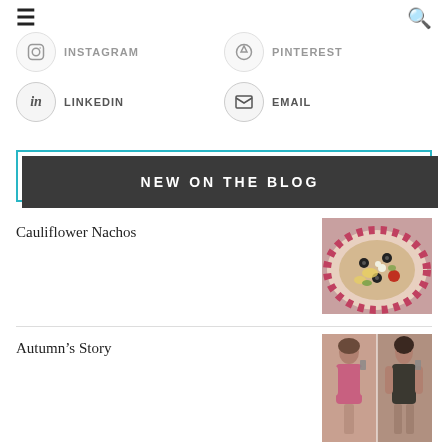≡ [menu] [search]
INSTAGRAM
PINTEREST
LINKEDIN
EMAIL
NEW ON THE BLOG
Cauliflower Nachos
[Figure (photo): Photo of cauliflower nachos on a red checkered plate with black olives, tomatoes and toppings]
Autumn's Story
[Figure (photo): Before and after photos of a woman in a pink top taking mirror selfies]